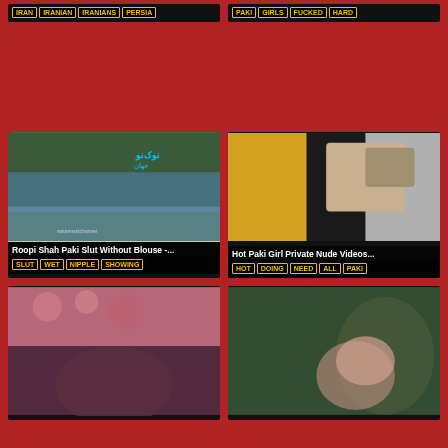[Figure (screenshot): Top partial cards with tags: IRAN, IRANIAN, IRANIANS, PERSIA and PAKI, GIRLS, FUCKED, HARD]
[Figure (screenshot): Video thumbnail: river/outdoor scene - Roopi Shah Paki Slut Without Blouse -... Tags: SLUT, WET, NIPPLE, SHOWING]
[Figure (screenshot): Video thumbnail: yellow and black close-up - Hot Paki Girl Private Nude Videos... Tags: HOT, DOING, NEED, ALL, PAKI]
[Figure (screenshot): Video thumbnail: bed scene, bottom left card]
[Figure (screenshot): Video thumbnail: dark green scene, bottom right card]